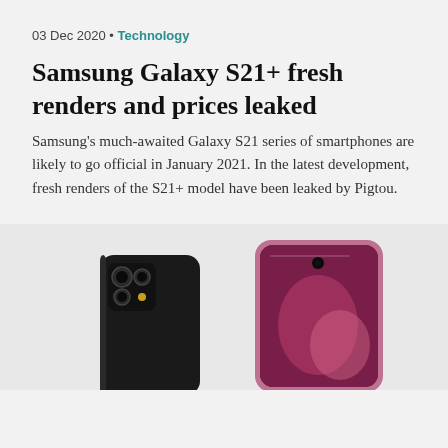03 Dec 2020 • Technology
Samsung Galaxy S21+ fresh renders and prices leaked
Samsung's much-awaited Galaxy S21 series of smartphones are likely to go official in January 2021. In the latest development, fresh renders of the S21+ model have been leaked by Pigtou.
[Figure (photo): Two Samsung Galaxy S21+ smartphones shown from front and back, one in black and one in pink/violet color, partially visible at the bottom of the page.]